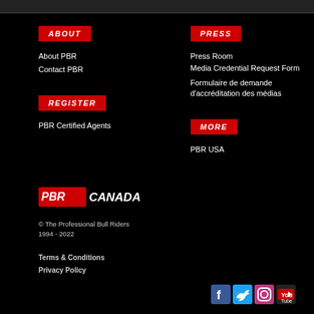ABOUT
About PBR
Contact PBR
PRESS
Press Room
Media Credential Request Form
Formulaire de demande d'accréditation des médias
REGISTER
PBR Certified Agents
MORE
PBR USA
[Figure (logo): PBR Canada logo in red/white italic text]
© The Professional Bull Riders
1994 - 2022
Terms & Conditions
Privacy Policy
[Figure (infographic): Social media icons: Facebook, Twitter, Instagram, YouTube]